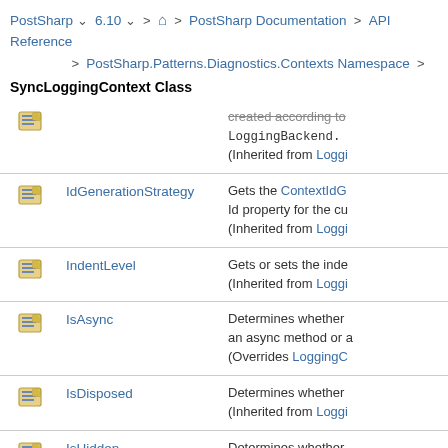PostSharp 6.10 > PostSharp Documentation > API Reference > PostSharp.Patterns.Diagnostics.Contexts Namespace > SyncLoggingContext Class
|  | Member | Description |
| --- | --- | --- |
| [icon] |  | created according to LoggingBackend. (Inherited from Loggi |
| [icon] | IdGenerationStrategy | Gets the ContextIdG Id property for the cu (Inherited from Loggi |
| [icon] | IndentLevel | Gets or sets the inde (Inherited from Loggi |
| [icon] | IsAsync | Determines whether an async method or a (Overrides LoggingC |
| [icon] | IsDisposed | Determines whether (Inherited from Loggi |
| [icon] | IsHidden | Determines whether Hidden contexts may rendered. |